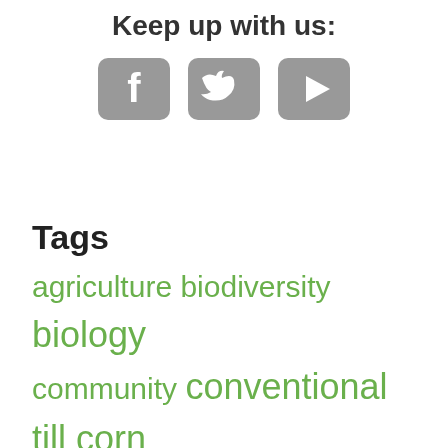Keep up with us:
[Figure (illustration): Three social media icons: Facebook, Twitter, and YouTube, styled in grey with rounded rectangles.]
Tags
agriculture biodiversity biology community conventional till corn cover crops dirt Diversity economics farming Grazing hat units